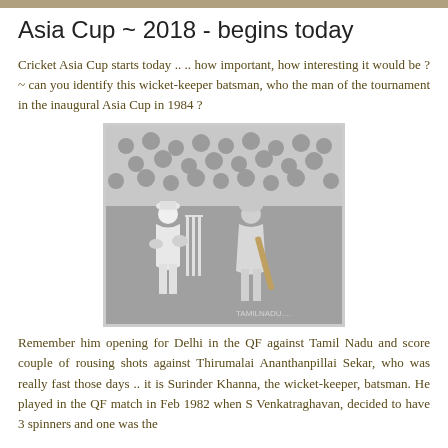Asia Cup ~ 2018 - begins today
Cricket Asia Cup starts today ..  .. how important, how interesting it would be ? ~ can you identify this wicket-keeper batsman,  who the man of the tournament in the inaugural Asia Cup in 1984 ?
[Figure (photo): Black and white cricket photograph showing a wicket-keeper crouching behind the stumps and a batsman playing a shot, with a crowd in the background.]
Remember him opening for Delhi in the QF against Tamil Nadu and score couple of rousing shots against Thirumalai Ananthanpillai Sekar, who was really fast those days ..  it is Surinder Khanna, the wicket-keeper, batsman.  He played in the QF match in Feb 1982 when S Venkatraghavan, decided to have 3 spinners and one was the